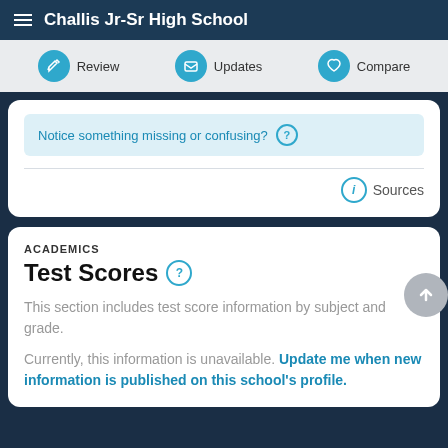Challis Jr-Sr High School
Review   Updates   Compare
Notice something missing or confusing? ?
Sources
ACADEMICS
Test Scores ?
This section includes test score information by subject and grade.
Currently, this information is unavailable. Update me when new information is published on this school's profile.